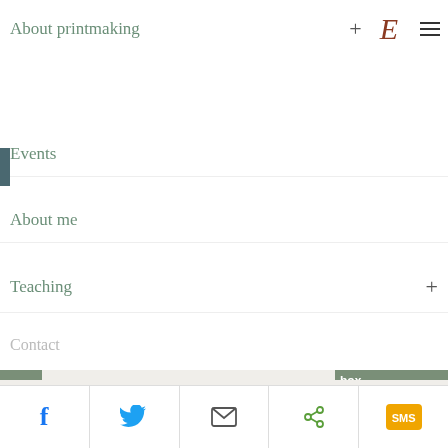About printmaking  +
Events
About me
Teaching  +
Contact
This website uses cookies to ensure you get the best experience on our website.
Learn more
Got it!
[Figure (screenshot): Social sharing bar with Facebook, Twitter, email, share and SMS icons at the bottom of the page]